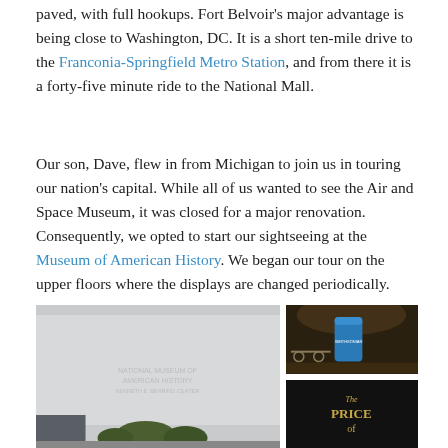paved, with full hookups. Fort Belvoir's major advantage is being close to Washington, DC. It is a short ten-mile drive to the Franconia-Springfield Metro Station, and from there it is a forty-five minute ride to the National Mall.
Our son, Dave, flew in from Michigan to join us in touring our nation's capital. While all of us wanted to see the Air and Space Museum, it was closed for a major renovation. Consequently, we opted to start our sightseeing at the Museum of American History. We began our tour on the upper floors where the displays are changed periodically.
[Figure (photo): Exterior of the National Museum of American History building with stone facade and hedges at base]
[Figure (photo): Interior museum exhibit with a blue cylindrical display stand and what appears to be a wagon or carriage artifact]
[Figure (photo): Dark museum exhibit panel with gold text reading 'The Price of' - partial view]